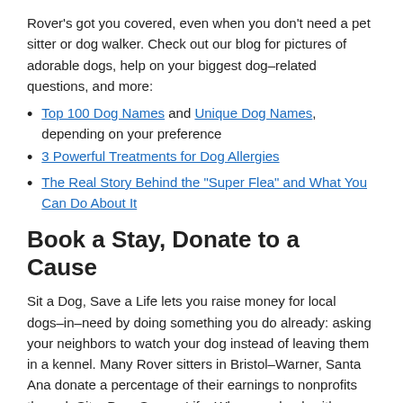Rover's got you covered, even when you don't need a pet sitter or dog walker. Check out our blog for pictures of adorable dogs, help on your biggest dog–related questions, and more:
Top 100 Dog Names and Unique Dog Names, depending on your preference
3 Powerful Treatments for Dog Allergies
The Real Story Behind the "Super Flea" and What You Can Do About It
Book a Stay, Donate to a Cause
Sit a Dog, Save a Life lets you raise money for local dogs–in–need by doing something you do already: asking your neighbors to watch your dog instead of leaving them in a kennel. Many Rover sitters in Bristol–Warner, Santa Ana donate a percentage of their earnings to nonprofits through Sit a Dog, Save a Life. When you book with a sitter who has the Rover Donation Badge on their profile, you're helping dogs in need, right here in Santa Ana.
We're proud to support over 200 organizations across the nation, including:
American Pit Bull Foundation